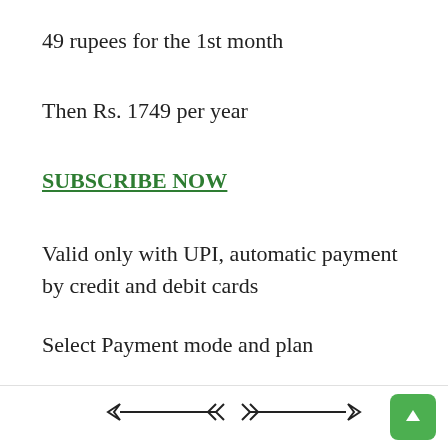49 rupees for the 1st month
Then Rs. 1749 per year
SUBSCRIBE NOW
Valid only with UPI, automatic payment by credit and debit cards
Select Payment mode and plan
–
[Figure (other): Navigation arrow bar with left and right arrows, and a green scroll-to-top button on the right]